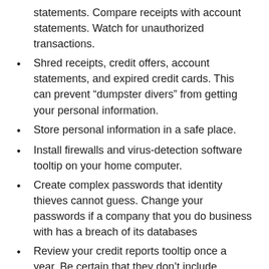statements. Compare receipts with account statements. Watch for unauthorized transactions.
Shred receipts, credit offers, account statements, and expired credit cards. This can prevent “dumpster divers” from getting your personal information.
Store personal information in a safe place.
Install firewalls and virus-detection software tooltip on your home computer.
Create complex passwords that identity thieves cannot guess. Change your passwords if a company that you do business with has a breach of its databases
Review your credit reports tooltip once a year. Be certain that they don’t include accounts that you have not opened. You can order it for free from Annualcreditreport.com.
If your identify has been stolen you should create a report with the Federal Trade Commission. To do this, you can fill out a report online or call 877.438.4338. Additionally,